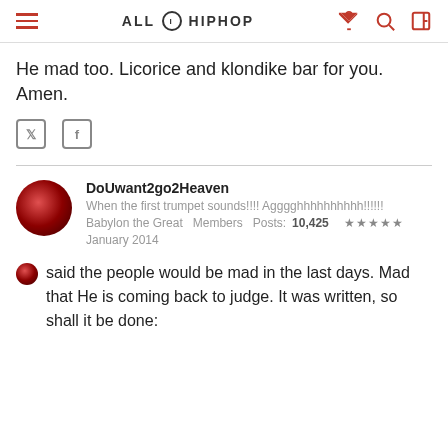ALL HIP HOP
He mad too. Licorice and klondike bar for you. Amen.
DoUwant2go2Heaven
When the first trumpet sounds!!!! Agggghhhhhhhhhh!!!!!!
Babylon the Great  Members  Posts: 10,425  ★★★★★
January 2014
said the people would be mad in the last days. Mad that He is coming back to judge. It was written, so shall it be done: